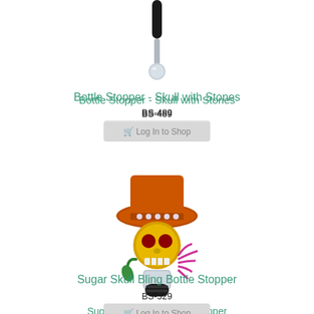[Figure (photo): Bottle stopper - skull with stones product image, showing a silver stopper with black top, partially visible at top of page]
Bottle Stopper - Skull with Stones
BS-489
[Figure (other): Log in to Shop button]
[Figure (photo): Sugar Skull Bling Bottle Stopper product image - gold skull wearing orange top hat with rhinestones, holding green stem with pink flower, silver stopper base with black rubber stopper]
Sugar Skull Bling Bottle Stopper
BS-529
[Figure (other): Log in to Shop button]